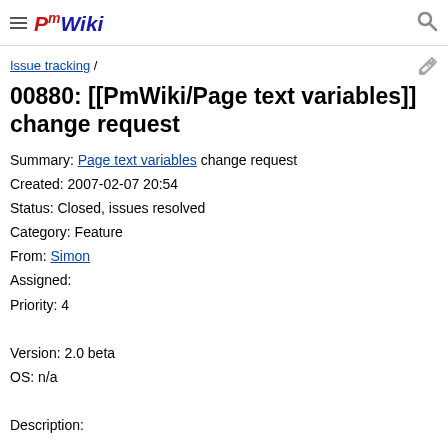PmWiki
Issue tracking /
00880: [[PmWiki/Page text variables]] change request
Summary: Page text variables change request
Created: 2007-02-07 20:54
Status: Closed, issues resolved
Category: Feature
From: Simon
Assigned:
Priority: 4

Version: 2.0 beta
OS: n/a

Description: